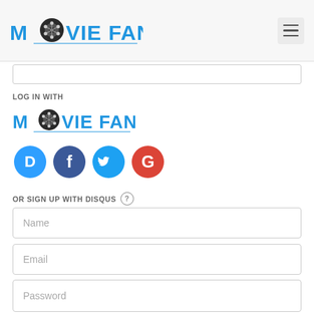MOVIE FANATIC
LOG IN WITH
[Figure (logo): Movie Fanatic logo with film reel replacing the O]
[Figure (infographic): Four social login icons: Disqus (blue speech bubble with D), Facebook (dark blue circle with f), Twitter (light blue circle with bird), Google (red circle with G)]
OR SIGN UP WITH DISQUS (?)
Name
Email
Password
Please access our Privacy Policy to learn what personal data Disqus collects and your choices about how it is used. All users of our service are also subject to our Terms of Service.
I'd rather post as a guest